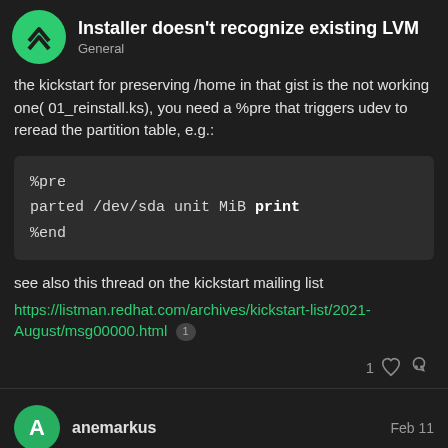Installer doesn't recognize existing LVM — General
the kickstart for preserving /home in that gist is the not working one( 01_reinstall.ks), you need a %pre that triggers udev to reread the partition table, e.g.:
[Figure (screenshot): Code block showing: %pre
parted /dev/sda unit MiB print
%end]
see also this thread on the kickstart mailing list
https://listman.redhat.com/archives/kickstart-list/2021-August/msg00000.html [1]
1 [like icon] [link icon]
anemarkus   Feb 11
anemarkus: